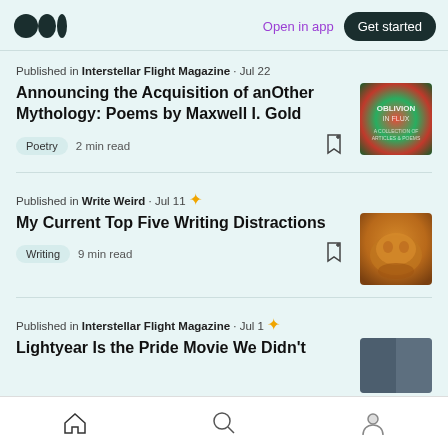Medium logo | Open in app | Get started
Published in Interstellar Flight Magazine · Jul 22
Announcing the Acquisition of anOther Mythology: Poems by Maxwell I. Gold
Poetry  2 min read
Published in Write Weird · Jul 11
My Current Top Five Writing Distractions
Writing  9 min read
Published in Interstellar Flight Magazine · Jul 1
Lightyear Is the Pride Movie We Didn't
Home | Search | Profile